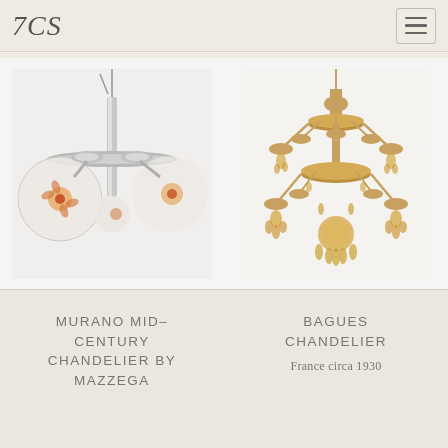TCS — navigation header with logo and menu button
[Figure (photo): Murano mid-century chandelier by Mazzega — modern chrome structure with round glass globes featuring orange floral design, suspended from above]
[Figure (photo): Bagues Chandelier — classic ornate French crystal chandelier with golden amber crystals and multiple arms, circa 1930]
MURANO MID-CENTURY CHANDELIER BY MAZZEGA
France circa 1930
BAGUES CHANDELIER
France circa 1930